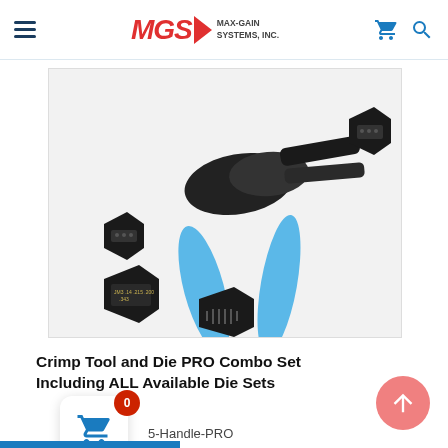MGS MAX-GAIN SYSTEMS, INC.
[Figure (photo): Crimp tool with blue handles and multiple interchangeable die sets arranged around it on a white background]
Crimp Tool and Die PRO Combo Set Including ALL Available Die Sets
5-Handle-PRO